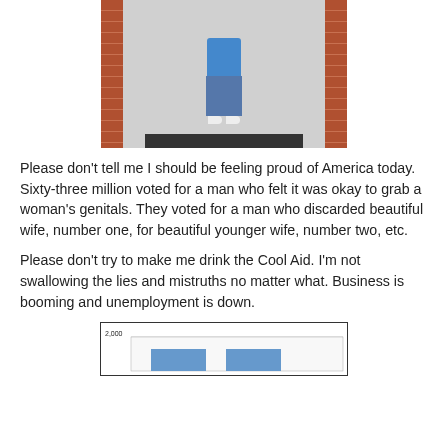[Figure (photo): Person standing in a doorway with brick walls on either side, wearing blue jeans and a blue top, with a dark door mat at their feet.]
Please don't tell me I should be feeling proud of America today. Sixty-three million voted for a man who felt it was okay to grab a woman's genitals. They voted for a man who discarded beautiful wife, number one, for beautiful younger wife, number two, etc.
Please don't try to make me drink the Cool Aid. I'm not swallowing the lies and mistruths no matter what. Business is booming and unemployment is down.
[Figure (bar-chart): Partial bar chart visible at bottom of page showing a y-axis label of 2,000 with bars below.]